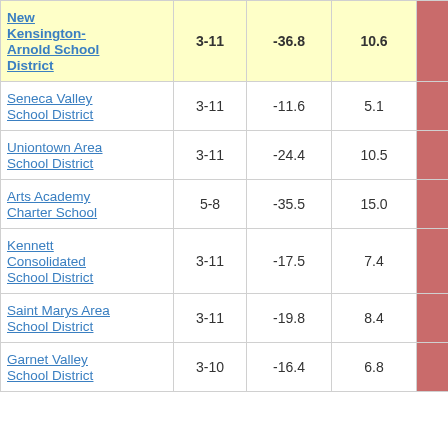| District/School | Grades | Col3 | Col4 | Score |
| --- | --- | --- | --- | --- |
| New Kensington-Arnold School District | 3-11 | -36.8 | 10.6 | -3.48 |
| Seneca Valley School District | 3-11 | -11.6 | 5.1 | -2.29 |
| Uniontown Area School District | 3-11 | -24.4 | 10.5 | -2.31 |
| Arts Academy Charter School | 5-8 | -35.5 | 15.0 | -2.35 |
| Kennett Consolidated School District | 3-11 | -17.5 | 7.4 | -2.36 |
| Saint Marys Area School District | 3-11 | -19.8 | 8.4 | -2.37 |
| Garnet Valley School District | 3-10 | -16.4 | 6.8 | -2.40 |